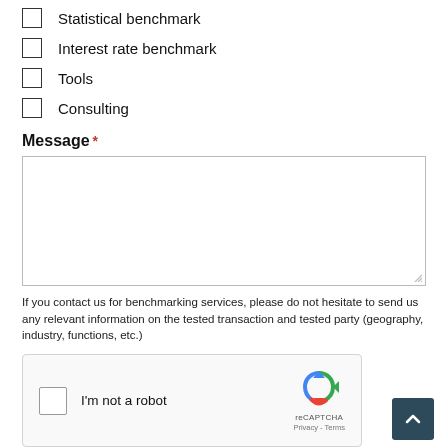Statistical benchmark
Interest rate benchmark
Tools
Consulting
Message *
If you contact us for benchmarking services, please do not hesitate to send us any relevant information on the tested transaction and tested party (geography, industry, functions, etc.)
[Figure (other): reCAPTCHA widget with checkbox 'I'm not a robot' and reCAPTCHA logo with Privacy and Terms links]
[Figure (other): Back to top button, dark teal square with upward chevron arrow]